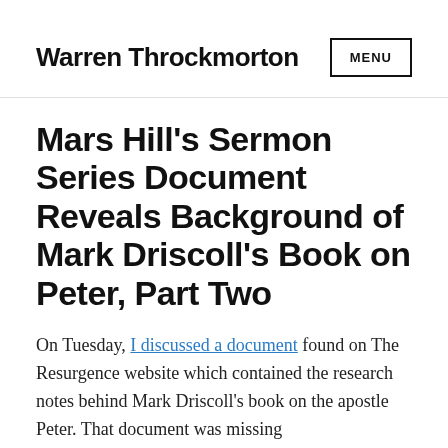Warren Throckmorton  MENU
Mars Hill's Sermon Series Document Reveals Background of Mark Driscoll's Book on Peter, Part Two
On Tuesday, I discussed a document found on The Resurgence website which contained the research notes behind Mark Driscoll's book on the apostle Peter. That document was missing